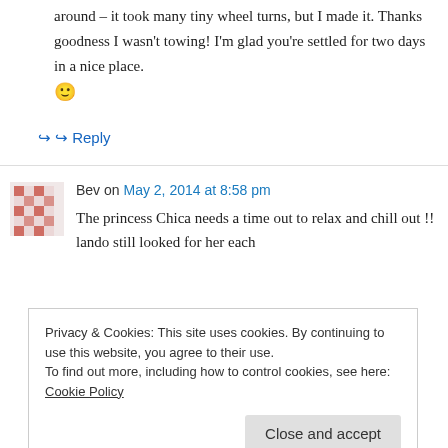around – it took many tiny wheel turns, but I made it. Thanks goodness I wasn't towing! I'm glad you're settled for two days in a nice place. 🙂
↪ Reply
Bev on May 2, 2014 at 8:58 pm
The princess Chica needs a time out to relax and chill out !! lando still looked for her each
Privacy & Cookies: This site uses cookies. By continuing to use this website, you agree to their use. To find out more, including how to control cookies, see here: Cookie Policy
Close and accept